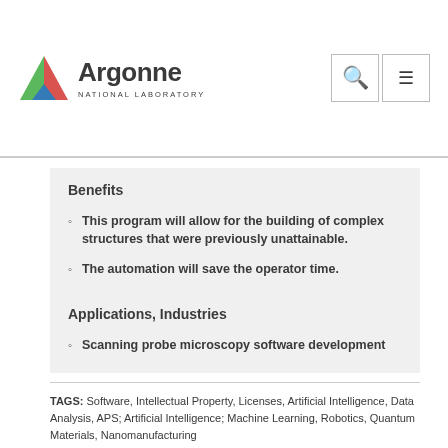Argonne NATIONAL LABORATORY
Benefits
This program will allow for the building of complex structures that were previously unattainable.
The automation will save the operator time.
Applications, Industries
Scanning probe microscopy software development
TAGS: Software, Intellectual Property, Licenses, Artificial Intelligence, Data Analysis, APS; Artificial Intelligence; Machine Learning, Robotics, Quantum Materials, Nanomanufacturing